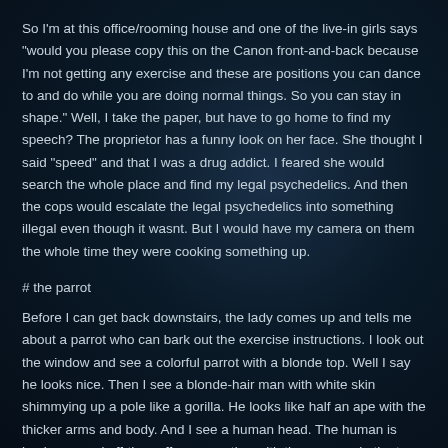So I'm at this office/rooming house and one of the live-in girls says "would you please copy this on the Canon front-and-back because I'm not getting any exercise and these are positions you can dance to and do while you are doing normal things. So you can stay in shape." Well, I take the paper, but have to go home to find my speech? The proprietor has a funny look on her face. She thought I said "speed" and that I was a drug addict. I feared she would search the whole place and find my legal psychedelics. And then the cops would escalate the legal psychedelics into something illegal even though it wasnt. But I would have my camera on them the whole time they were cooking something up.
# the parrot
Before I can get back downstairs, the lady comes up and tells me about a parrot who can bark out the exercise instructions. I look out the window and see a colorful parrot with a blonde top. Well I say he looks nice. Then I see a blonde-hair man with white skin shimmying up a pole like a gorilla. He looks like half an ape with the thicker arms and body. And I see a human head. The human is having casual off-the-cuff conversation with the apeman in the tree. I come over to